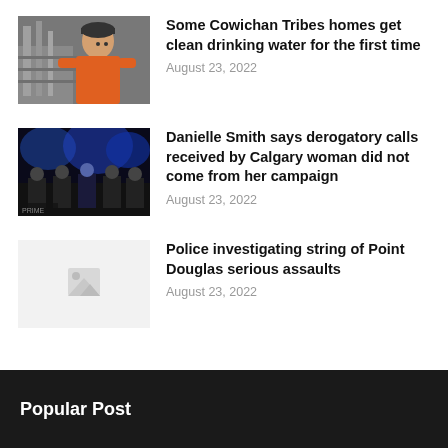[Figure (photo): Person in orange shirt drinking water near industrial equipment]
Some Cowichan Tribes homes get clean drinking water for the first time
August 23, 2022
[Figure (photo): Dark stage with blue lighting and people at podiums]
Danielle Smith says derogatory calls received by Calgary woman did not come from her campaign
August 23, 2022
[Figure (photo): Light gray placeholder image with small icon]
Police investigating string of Point Douglas serious assaults
August 23, 2022
Popular Post